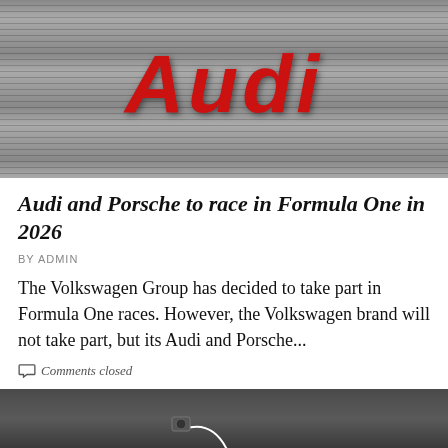[Figure (photo): Audi logo in large red italic letters mounted on a ribbed metallic grey surface/wall]
Audi and Porsche to race in Formula One in 2026
BY ADMIN
The Volkswagen Group has decided to take part in Formula One races. However, the Volkswagen brand will not take part, but its Audi and Porsche...
Comments closed
[Figure (photo): Electronic circuit or mechanical component on a dark grey background with wires and connectors visible]